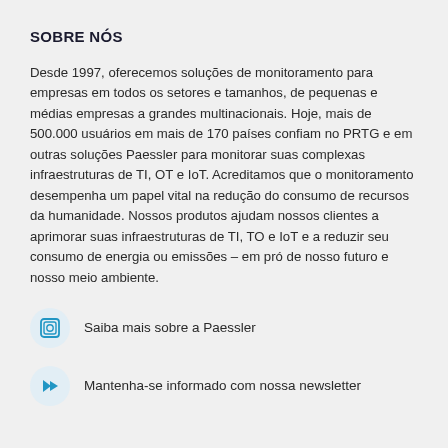SOBRE NÓS
Desde 1997, oferecemos soluções de monitoramento para empresas em todos os setores e tamanhos, de pequenas e médias empresas a grandes multinacionais. Hoje, mais de 500.000 usuários em mais de 170 países confiam no PRTG e em outras soluções Paessler para monitorar suas complexas infraestruturas de TI, OT e IoT. Acreditamos que o monitoramento desempenha um papel vital na redução do consumo de recursos da humanidade. Nossos produtos ajudam nossos clientes a aprimorar suas infraestruturas de TI, TO e IoT e a reduzir seu consumo de energia ou emissões – em pró de nosso futuro e nosso meio ambiente.
Saiba mais sobre a Paessler
Mantenha-se informado com nossa newsletter